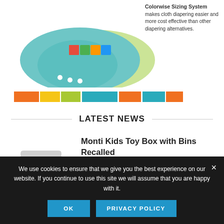[Figure (illustration): Cloth diaper product image with colorwise sizing system text and multicolor bar chart stripe at bottom]
LATEST NEWS
[Figure (illustration): Toy box with colorful building blocks scattered around it]
Monti Kids Toy Box with Bins Recalled
JULY 22, 2022
We use cookies to ensure that we give you the best experience on our website. If you continue to use this site we will assume that you are happy with it.